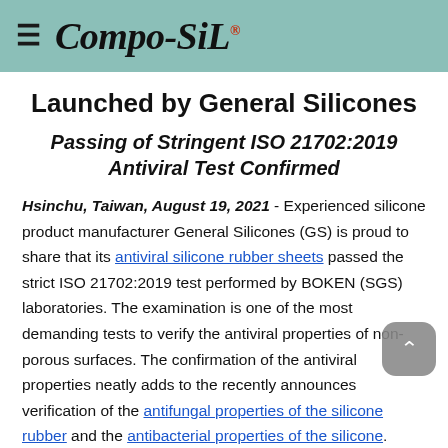Compo-SiL®
Launched by General Silicones
Passing of Stringent ISO 21702:2019 Antiviral Test Confirmed
Hsinchu, Taiwan, August 19, 2021 - Experienced silicone product manufacturer General Silicones (GS) is proud to share that its antiviral silicone rubber sheets passed the strict ISO 21702:2019 test performed by BOKEN (SGS) laboratories. The examination is one of the most demanding tests to verify the antiviral properties of non-porous surfaces. The confirmation of the antiviral properties neatly adds to the recently announces verification of the antifungal properties of the silicone rubber and the antibacterial properties of the silicone. Using its 50 years of experience in silicone